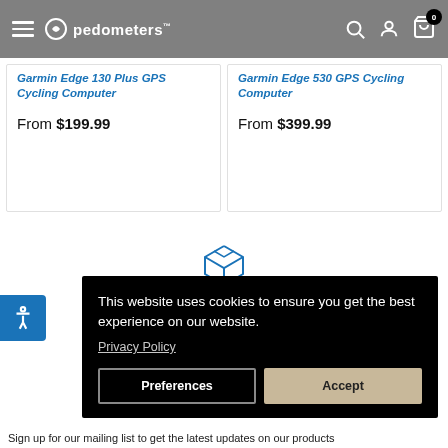pedometers
Garmin Edge 130 Plus GPS Cycling Computer
From $199.99
Garmin Edge 530 GPS Cycling Computer
From $399.99
[Figure (illustration): Blue outline icon of a shipping/delivery box]
Shipping
This website uses cookies to ensure you get the best experience on our website.
Privacy Policy
Preferences
Accept
Sign up for our mailing list to get the latest updates on our products